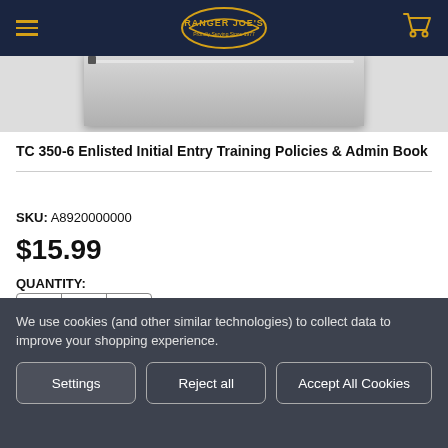Ranger Joe's navigation header
[Figure (photo): Product image strip showing top of a book/manual with gray cover]
TC 350-6 Enlisted Initial Entry Training Policies & Admin Book
SKU: A8920000000
$15.99
QUANTITY:
We use cookies (and other similar technologies) to collect data to improve your shopping experience.